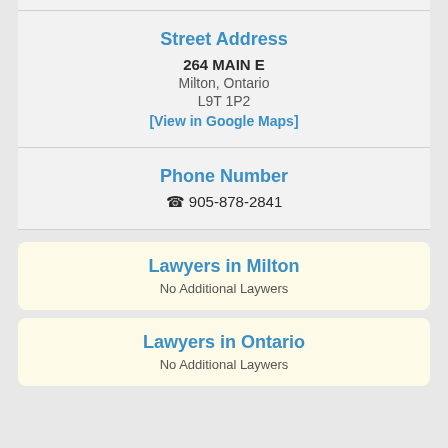Street Address
264 MAIN E
Milton, Ontario
L9T 1P2
[View in Google Maps]
Phone Number
905-878-2841
Lawyers in Milton
No Additional Laywers
Lawyers in Ontario
No Additional Laywers